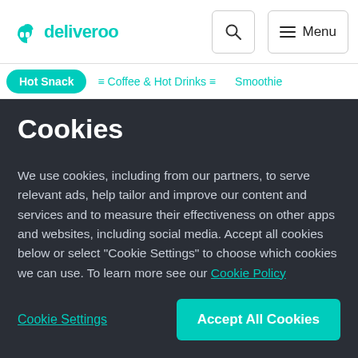[Figure (logo): Deliveroo logo with teal kangaroo icon and 'deliveroo' wordmark]
deliveroo — search — Menu
Hot Snack   Coffee & Hot Drinks   Smoothie
Cookies
We use cookies, including from our partners, to serve relevant ads, help tailor and improve our content and services and to measure their effectiveness on other apps and websites, including social media. Accept all cookies below or select "Cookie Settings" to choose which cookies we can use. To learn more see our Cookie Policy
Cookie Settings
Accept All Cookies